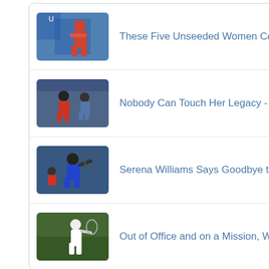These Five Unseeded Women Could Wreak Havoc on Week ...
Nobody Can Touch Her Legacy - Players React to Seren...
Serena Williams Says Goodbye to Toronto after Loss t...
Out of Office and on a Mission, Williams Aims High a...